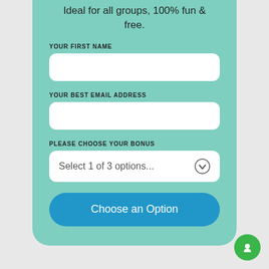Ideal for all groups, 100% fun & free.
YOUR FIRST NAME
YOUR BEST EMAIL ADDRESS
PLEASE CHOOSE YOUR BONUS
Select 1 of 3 options...
Choose an Option